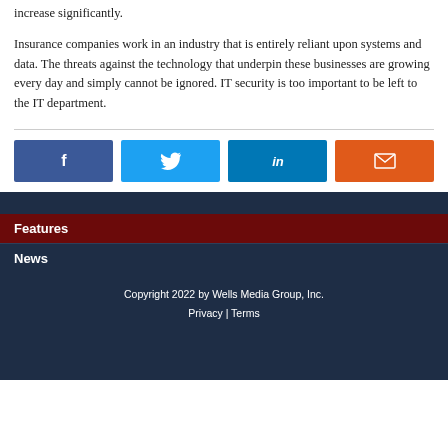increase significantly.
Insurance companies work in an industry that is entirely reliant upon systems and data. The threats against the technology that underpin these businesses are growing every day and simply cannot be ignored. IT security is too important to be left to the IT department.
[Figure (infographic): Four social sharing buttons: Facebook (dark blue), Twitter (light blue), LinkedIn (medium blue), Email (orange)]
Features
News
Copyright 2022 by Wells Media Group, Inc. Privacy | Terms